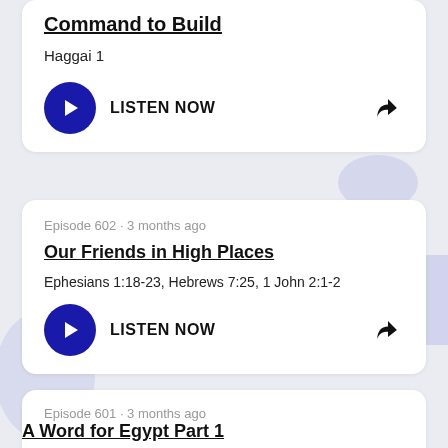Command to Build
Haggai 1
LISTEN NOW
Episode 602 · 3 months ago
Our Friends in High Places
Ephesians 1:18-23, Hebrews 7:25, 1 John 2:1-2
LISTEN NOW
Episode 601 · 3 months ago
A Word for Egypt Part 1
Ezekiel 29-30:19